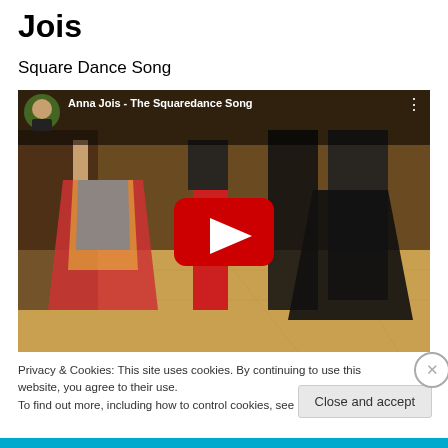Jois
Square Dance Song
[Figure (screenshot): YouTube video thumbnail showing square dancers in a hall. Title bar reads 'Anna Jois - The Squaredance Song'. A large red YouTube play button is centered on the video. Dancers are visible including a woman with a colorful striped skirt and a man in red pants.]
Privacy & Cookies: This site uses cookies. By continuing to use this website, you agree to their use.
To find out more, including how to control cookies, see here: Cookie Policy
Close and accept